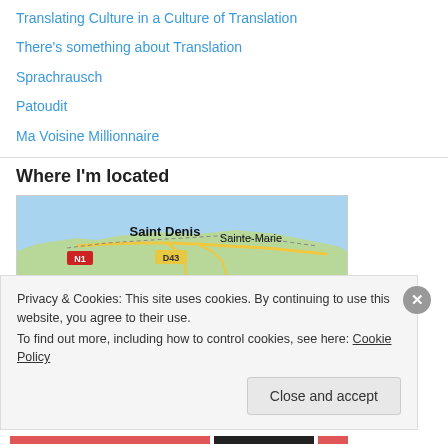Translating Culture in a Culture of Translation
There's something about Translation
Sprachrausch
Patoudit
Ma Voisine Millionnaire
Where I'm located
[Figure (map): Google map showing northern coast of Réunion island with Saint Denis and Sainte-Marie labeled, roads N1 and D43 marked]
Privacy & Cookies: This site uses cookies. By continuing to use this website, you agree to their use.
To find out more, including how to control cookies, see here: Cookie Policy